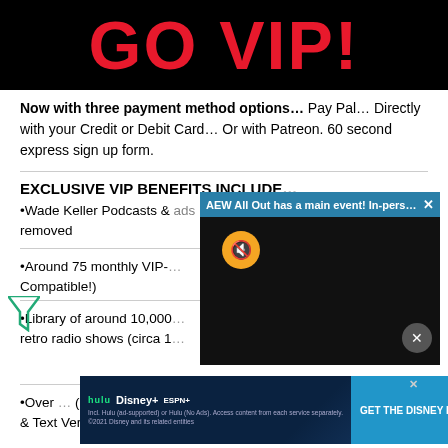GO VIP!
Now with three payment method options… Pay Pal… Directly with your Credit or Debit Card… Or with Patreon. 60 second express sign up form.
EXCLUSIVE VIP BENEFITS INCLUDE…
Wade Keller Podcasts & [ads removed]
Around 75 monthly VIP-[…] Compatible!)
Library of around 10,000[…] retro radio shows (circa 1[…])
Over […] (PDF & Text Versions)
[Figure (screenshot): Video popup overlay showing 'AEW All Out has a main event! In-person...' with a dark video player, yellow mute button, and close button]
[Figure (screenshot): Disney Bundle advertisement banner with Hulu, Disney+, ESPN+ logos and 'GET THE DISNEY BUNDLE' CTA button]